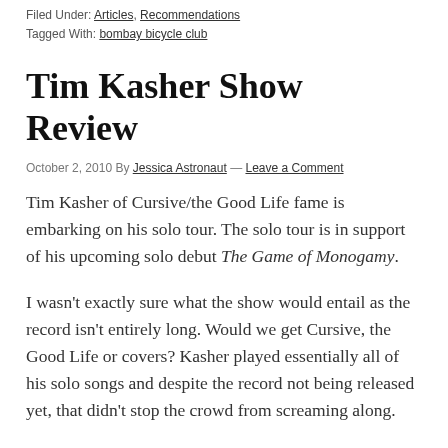Filed Under: Articles, Recommendations
Tagged With: bombay bicycle club
Tim Kasher Show Review
October 2, 2010 By Jessica Astronaut — Leave a Comment
Tim Kasher of Cursive/the Good Life fame is embarking on his solo tour. The solo tour is in support of his upcoming solo debut The Game of Monogamy.
I wasn't exactly sure what the show would entail as the record isn't entirely long. Would we get Cursive, the Good Life or covers? Kasher played essentially all of his solo songs and despite the record not being released yet, that didn't stop the crowd from screaming along.
The show included a few surprising Good Life song...